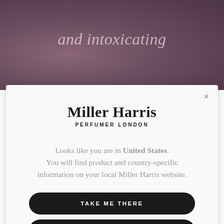[Figure (illustration): Dark mauve/purple textured background image with text 'and intoxicating' overlaid in a light italic serif font]
and intoxicating
Miller Harris
PERFUMER LONDON
Looks like you are in United States. You will find product and country-specific information on your local Miller Harris website.
TAKE ME THERE
VISIT THE GLOBAL SITE